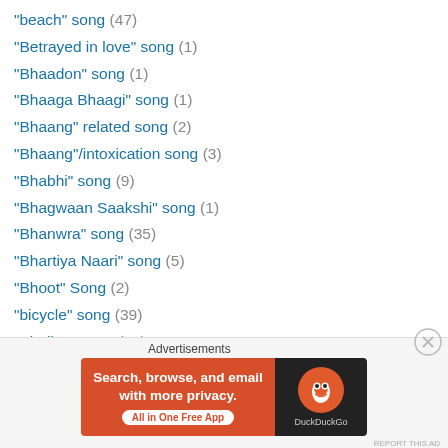"beach" song (47)
"Betrayed in love" song (1)
"Bhaadon" song (1)
"Bhaaga Bhaagi" song (1)
"Bhaang" related song (2)
"Bhaang"/intoxication song (3)
"Bhabhi" song (9)
"Bhagwaan Saakshi" song (1)
"Bhanwra" song (35)
"Bhartiya Naari" song (5)
"Bhoot" Song (2)
"bicycle" song (39)
"Bindiya" song (11)
"Booing" song (2)
"Broken heart" song (57)
"Burglar's Song" (1)
[Figure (screenshot): DuckDuckGo advertisement banner: 'Search, browse, and email with more privacy. All in One Free App' with DuckDuckGo logo on dark background]